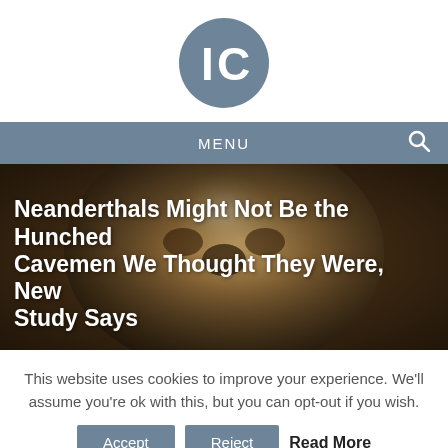[Figure (logo): IC logo — white letters IC on a dark steel-blue circle]
MENU
[Figure (photo): Close-up photo of a Neanderthal skull, brown and beige tones, bokeh background]
Neanderthals Might Not Be the Hunched Cavemen We Thought They Were, New Study Says
This website uses cookies to improve your experience. We'll assume you're ok with this, but you can opt-out if you wish.
Accept  Reject  Read More